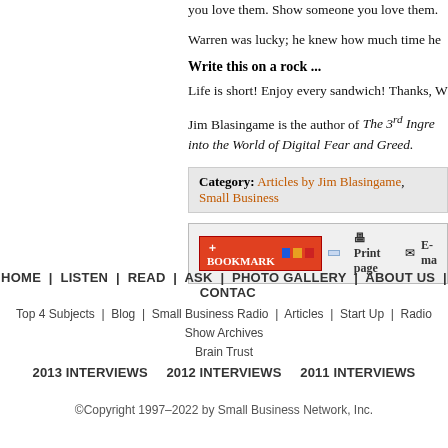you love them. Show someone you love them.
Warren was lucky; he knew how much time he
Write this on a rock ...
Life is short! Enjoy every sandwich! Thanks, W
Jim Blasingame is the author of The 3rd Ingre... into the World of Digital Fear and Greed.
Category: Articles by Jim Blasingame, Small Business
[Figure (screenshot): Bookmark and social sharing toolbar with Print page and E-mail links]
HOME | LISTEN | READ | ASK | PHOTO GALLERY | ABOUT US | CONTAC
Top 4 Subjects | Blog | Small Business Radio | Articles | Start Up | Radio Show Archives | Brain Trust
2013 INTERVIEWS   2012 INTERVIEWS   2011 INTERVIEWS
©Copyright 1997–2022 by Small Business Network, Inc.